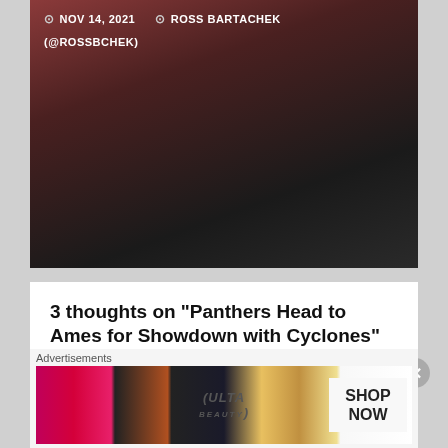[Figure (photo): Wrestling photo with dark background, athletes in action]
NOV 14, 2021  ROSS BARTACHEK (@ROSSBCHEK)
3 thoughts on “Panthers Head to Ames for Showdown with Cyclones”
Panthers go on the road to Ohio | says:
January 25, 2017 at 4:00 pm
[...] matches that might have implications on the MAC tournament later this season. As I talked about before the Iowa State and Eastern
[Figure (photo): Advertisements banner - Ulta beauty advertisement showing SHOP NOW]